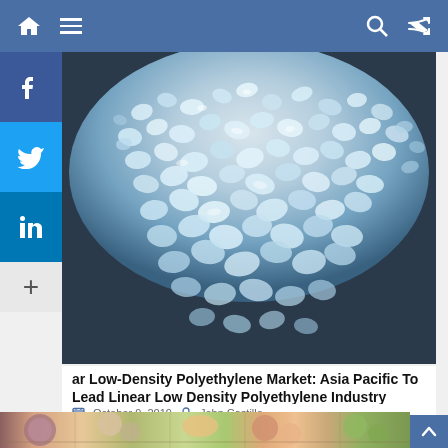Navigation bar with home, menu, search, and shuffle icons
[Figure (photo): Close-up photo of white/translucent plastic pellets (Linear Low-Density Polyethylene resin) on a dark surface]
ar Low-Density Polyethylene Market: Asia Pacific To Lead Linear Low Density Polyethylene Industry
October 9, 2019   John Castillo
[Figure (photo): Food photo showing various bowls of mushrooms, fruits (peaches, grapes), and vegetables on a wooden surface]